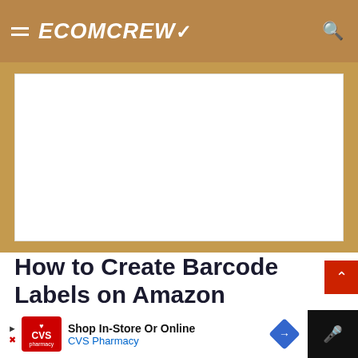ECOMCREW
[Figure (other): Advertisement placeholder - white rectangle]
How to Create Barcode Labels on Amazon
If you're planning to print and apply your own
[Figure (other): CVS Pharmacy banner advertisement - Shop In-Store Or Online]